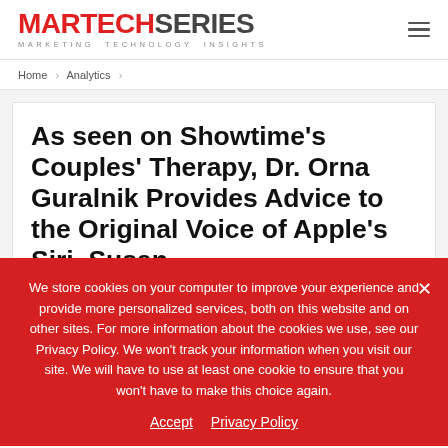MARTECHSERIES — MARKETING TECHNOLOGY INSIGHTS
Home > Analytics >
As seen on Showtime's Couples' Therapy, Dr. Orna Guralnik Provides Advice to the Original Voice of Apple's Siri, Susan
We store cookies on your computer to improve your experience and provide more personalized services, both on this website and on other sites. For more information about the cookies we use, see our Privacy Policy. We won't track your information when you visit our site. We will have to use at least one cookie to ensure that you won't have to make this choice again.

Accept   Privacy Policy